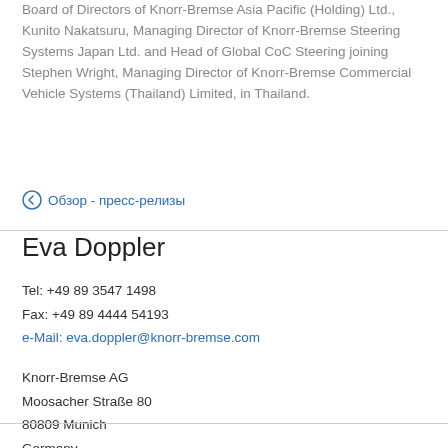Board of Directors of Knorr-Bremse Asia Pacific (Holding) Ltd., Kunito Nakatsuru, Managing Director of Knorr-Bremse Steering Systems Japan Ltd. and Head of Global CoC Steering joining Stephen Wright, Managing Director of Knorr-Bremse Commercial Vehicle Systems (Thailand) Limited, in Thailand.
← Обзор - пресс-релизы
Eva Doppler
Tel: +49 89 3547 1498
Fax: +49 89 4444 54193
e-Mail: eva.doppler@knorr-bremse.com
Knorr-Bremse AG
Moosacher Straße 80
80809 Munich
Germany